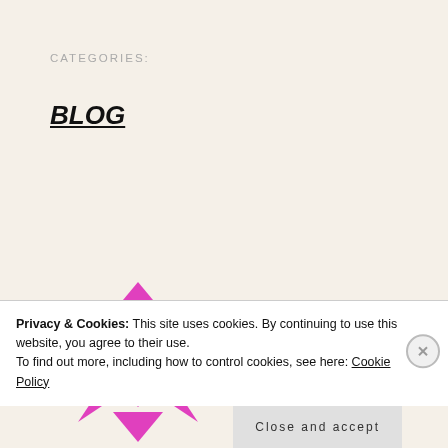CATEGORIES:
BLOG
[Figure (logo): Decorative geometric pink/magenta logo composed of diamond and star shapes arranged in a circular pattern]
Privacy & Cookies: This site uses cookies. By continuing to use this website, you agree to their use.
To find out more, including how to control cookies, see here: Cookie Policy
Close and accept